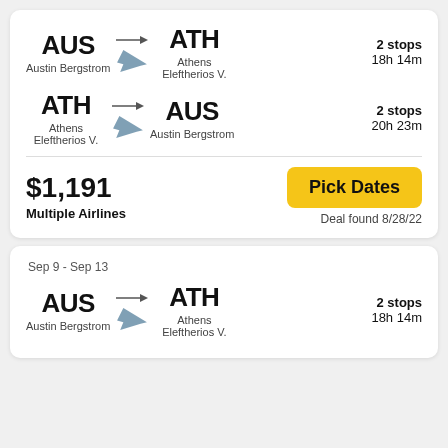AUS → ATH, 2 stops, 18h 14m, Austin Bergstrom to Athens Eleftherios V.
ATH → AUS, 2 stops, 20h 23m, Athens Eleftherios V. to Austin Bergstrom
$1,191
Multiple Airlines
Pick Dates
Deal found 8/28/22
Sep 9 - Sep 13
AUS → ATH, 2 stops, 18h 14m, Austin Bergstrom to Athens Eleftherios V.